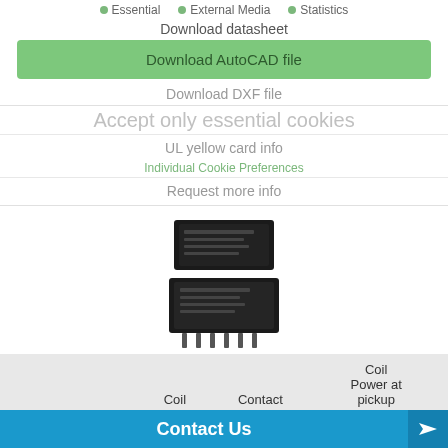Essential • External Media • Statistics
Download datasheet
Download AutoCAD file
Download DXF file
Accept only essential cookies
UL yellow card info
Individual Cookie Preferences
Request more info
[Figure (photo): Electronic relay component, black rectangular module with metal pins]
| Contact ratings | Coil Voltage | Contact forms | Coil Power at pickup voltage |
| --- | --- | --- | --- |
| 2 A at 30 VDC | 2.2 |  | ...dard |
Contact Us